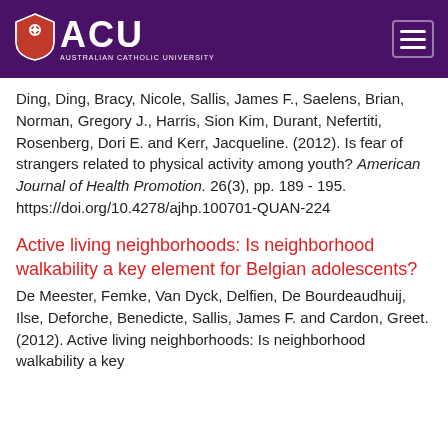ACU Australian Catholic University
Ding, Ding, Bracy, Nicole, Sallis, James F., Saelens, Brian, Norman, Gregory J., Harris, Sion Kim, Durant, Nefertiti, Rosenberg, Dori E. and Kerr, Jacqueline. (2012). Is fear of strangers related to physical activity among youth? American Journal of Health Promotion. 26(3), pp. 189 - 195. https://doi.org/10.4278/ajhp.100701-QUAN-224
Active living neighborhoods: Is neighborhood walkability a key element for Belgian adolescents?
De Meester, Femke, Van Dyck, Delfien, De Bourdeaudhuij, Ilse, Deforche, Benedicte, Sallis, James F. and Cardon, Greet. (2012). Active living neighborhoods: Is neighborhood walkability a key